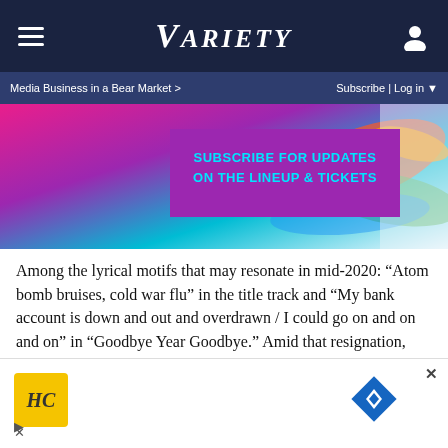VARIETY
Media Business in a Bear Market > Subscribe | Log in
[Figure (infographic): Advertisement banner with purple/magenta/teal gradient background and text 'SUBSCRIBE FOR UPDATES ON THE LINEUP & TICKETS']
Among the lyrical motifs that may resonate in mid-2020: “Atom bomb bruises, cold war flu” in the title track and “My bank account is down and out and overdrawn / I could go on and on and on” in “Goodbye Year Goodbye.” Amid that resignation, there is also renewal: “Though you may be dearly departed, dearly departed / I’m just getting started,” they sing in “Star Chambered.”
[Figure (infographic): Bottom advertisement area with HC logo in yellow square and blue navigation diamond icon, with play and close icons]